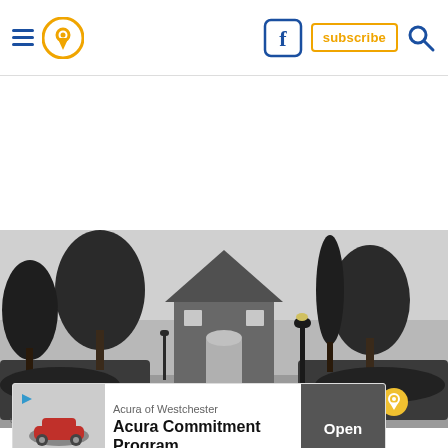Navigation bar with hamburger menu, location pin icon, Facebook icon, subscribe button, search icon
[Figure (photo): Black and white photograph of a historic shingle-style building (resembling a meetinghouse or chapel) with a pitched roof and arched doorway, flanked by tall hedges forming a pathway. Bare winter trees and a cypress tree visible in the background. A lamp post stands to the right of the building. Stone or brick pathway leads to the entrance.]
Acura of Westchester
Acura Commitment Program
Open